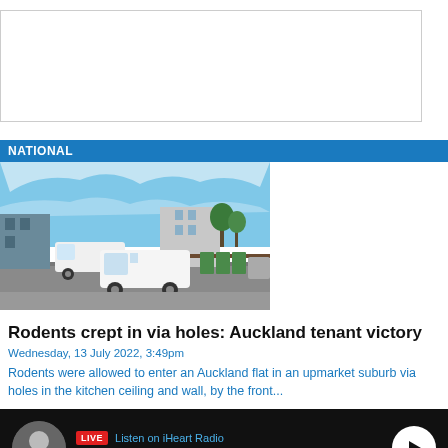[Figure (other): Advertisement placeholder box with border]
NATIONAL
[Figure (photo): Street scene with white vans parked outside residential and commercial buildings in an Auckland suburb, blue sky with wispy clouds]
Rodents crept in via holes: Auckland tenant victory
Wednesday, 13 July 2022, 3:49pm
Rodents were allowed to enter an Auckland flat in an upmarket suburb via holes in the kitchen ceiling and wall, by the front...
[Figure (screenshot): Live radio bar: avatar of Jack Tame, LIVE badge, Listen on iHeart Radio, Saturday Morning with Jack Tame, play button]
Home  Shows  Podcasts  News  Menu